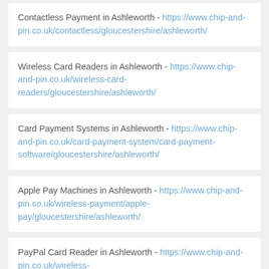Contactless Payment in Ashleworth - https://www.chip-and-pin.co.uk/contactless/gloucestershire/ashleworth/
Wireless Card Readers in Ashleworth - https://www.chip-and-pin.co.uk/wireless-card-readers/gloucestershire/ashleworth/
Card Payment Systems in Ashleworth - https://www.chip-and-pin.co.uk/card-payment-system/card-payment-software/gloucestershire/ashleworth/
Apple Pay Machines in Ashleworth - https://www.chip-and-pin.co.uk/wireless-payment/apple-pay/gloucestershire/ashleworth/
PayPal Card Reader in Ashleworth - https://www.chip-and-pin.co.uk/wireless-payment/paypal/gloucestershire/ashleworth/
MORE INFORMATION